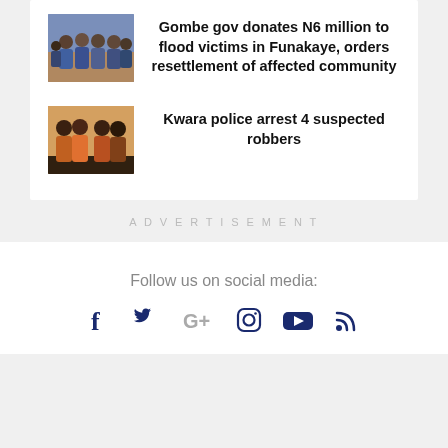[Figure (photo): Group of people in blue/traditional attire standing together]
Gombe gov donates N6 million to flood victims in Funakaye, orders resettlement of affected community
[Figure (photo): Four men standing together in colorful traditional Nigerian attire]
Kwara police arrest 4 suspected robbers
ADVERTISEMENT
Follow us on social media: